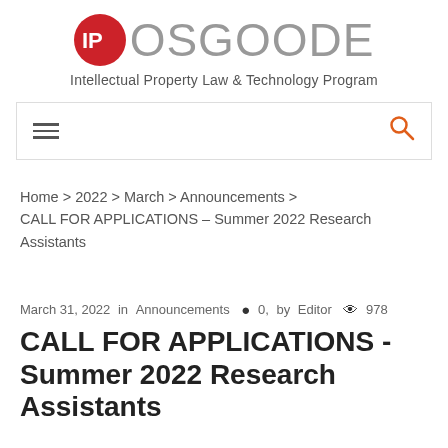[Figure (logo): IP Osgoode logo: red circle with white IP letters followed by OSGOODE in large grey letters, with subtitle 'Intellectual Property Law & Technology Program']
[Figure (screenshot): Navigation bar with hamburger menu icon on left and orange search icon on right, bordered box]
Home > 2022 > March > Announcements > CALL FOR APPLICATIONS – Summer 2022 Research Assistants
March 31, 2022  in  Announcements  0,  by  Editor  978
CALL FOR APPLICATIONS - Summer 2022 Research Assistants